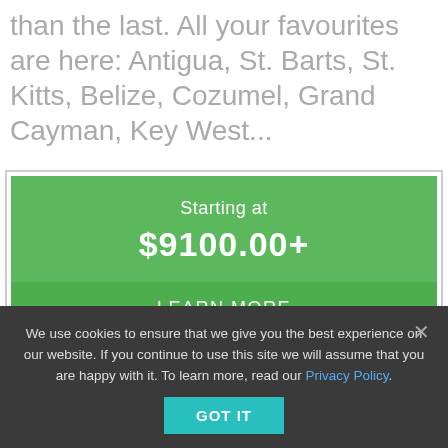than the last. All your favourites are here: Antigua, St. Barts, St. Kitts, Belize, Cozumel, Grand Cayman, Key West...
[Figure (infographic): Green promotional pricing box with 'Starting at $9100.00+' and a 'LEARN MORE' button below, bordered by a light grey outline.]
We use cookies to ensure that we give you the best experience on our website. If you continue to use this site we will assume that you are happy with it. To learn more, read our Privacy Policy.